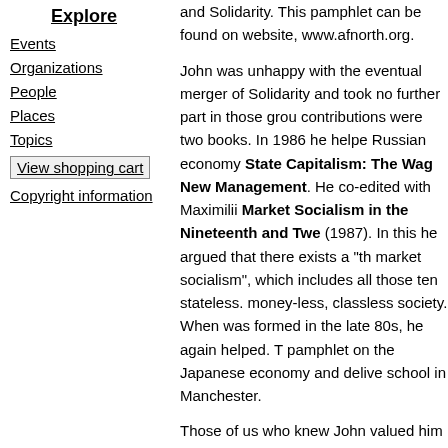Explore
Events
Organizations
People
Places
Topics
View shopping cart
Copyright information
and Solidarity. This pamphlet can be found on website, www.afnorth.org.
John was unhappy with the eventual merger of Solidarity and took no further part in those grou contributions were two books. In 1986 he helpe Russian economy State Capitalism: The Wag New Management. He co-edited with Maximilii Market Socialism in the Nineteenth and Twe (1987). In this he argued that there exists a "th market socialism", which includes all those ten stateless. money-less, classless society. When was formed in the late 80s, he again helped. T pamphlet on the Japanese economy and delive school in Manchester.
Those of us who knew John valued him for the views and the straightforward way he expresse many in Britain aware of the contribution of Jap